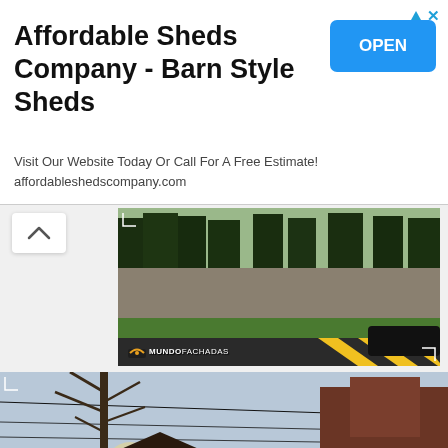[Figure (infographic): Advertisement banner for Affordable Sheds Company - Barn Style Sheds with OPEN button and ad icons]
Affordable Sheds Company - Barn Style Sheds
Visit Our Website Today Or Call For A Free Estimate!
affordableshedscompany.com
[Figure (photo): Street view photo of a building behind a stone wall with trees, showing MUNDOFACHADAS watermark]
[Figure (photo): Exterior view of a large dark red/brown house with SUV parked in front, showing MUNDOFACHADAS watermark]
[Figure (photo): Partial view of another building exterior at bottom of page]